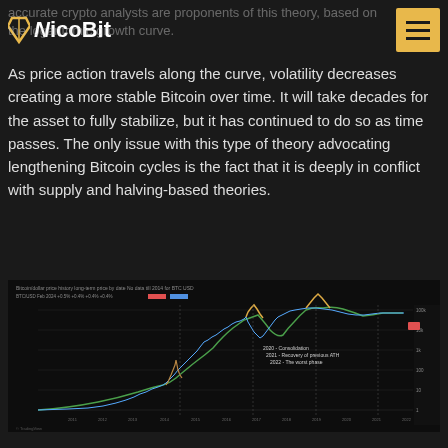NicoBit
accurate crypto analysts are proponents of this theory, based on the logarithmic growth curve.
As price action travels along the curve, volatility decreases creating a more stable Bitcoin over time. It will take decades for the asset to fully stabilize, but it has continued to do so as time passes. The only issue with this type of theory advocating lengthening Bitcoin cycles is the fact that it is deeply in conflict with supply and halving-based theories.
[Figure (continuous-plot): Bitcoin logarithmic price chart showing historical price action from early years through recent times, with annotations marking 2020 - Consolidation, 2021 - Recovery of previous ATH, 2022 - The worst phase. Chart shows a rising curved trend line on a dark background with price scale on right axis.]